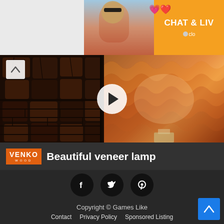[Figure (screenshot): Advertisement banner with woman at beach and 'CHAT & LIV' text with orange background]
[Figure (screenshot): Video thumbnail showing wood pieces on left and illuminated veneer lamp shade on right, with VENKO WOOD logo and title 'Beautiful veneer lamp']
Copyright © Games Like
Contact  Privacy Policy  Sponsored Listing